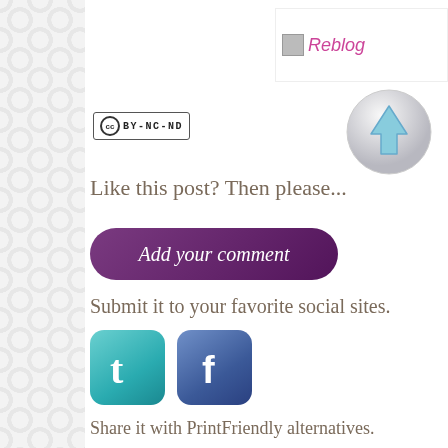[Figure (logo): Reblog button with broken image icon and pink text 'Reblog' in top right corner]
[Figure (other): Gray circular button with blue upward arrow]
[Figure (other): Creative Commons BY-NC-ND license badge]
Like this post? Then please...
[Figure (other): Purple rounded button with italic white text 'Add your comment']
Submit it to your favorite social sites.
[Figure (other): Twitter icon - teal rounded square with white bird/t logo]
[Figure (other): Facebook icon - blue rounded square with white f logo]
Share it with PrintFriendly alternatives.
[Figure (other): Print Friendly green button with printer icon]